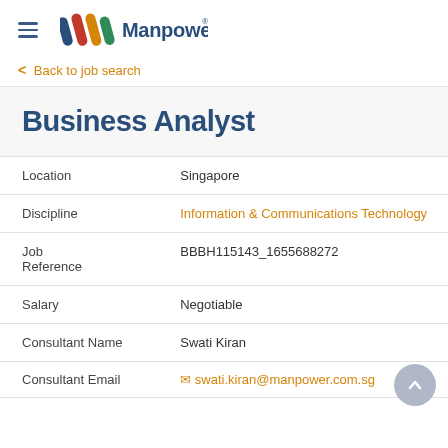[Figure (logo): Manpower logo with colored diagonal stripes and text 'Manpower']
< Back to job search
Business Analyst
| Field | Value |
| --- | --- |
| Location | Singapore |
| Discipline | Information & Communications Technology |
| Job Reference | BBBH115143_1655688272 |
| Salary | Negotiable |
| Consultant Name | Swati Kiran |
| Consultant Email | swati.kiran@manpower.com.sg |